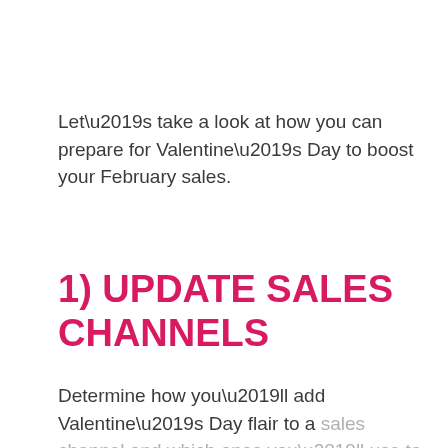Let’s take a look at how you can prepare for Valentine’s Day to boost your February sales.
1) UPDATE SALES CHANNELS
Determine how you’ll add Valentine’s Day flair to a sales channel and which ones you’ll use to promote your products.